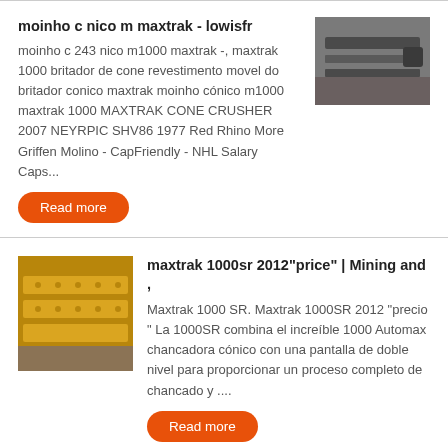moinho c nico m maxtrak - lowisfr
moinho c 243 nico m1000 maxtrak -, maxtrak 1000 britador de cone revestimento movel do britador conico maxtrak moinho cónico m1000 maxtrak 1000 MAXTRAK CONE CRUSHER 2007 NEYRPIC SHV86 1977 Red Rhino More Griffen Molino - CapFriendly - NHL Salary Caps...
[Figure (photo): Photo of industrial equipment, appears to be a conveyor or crusher component, dark metallic machinery]
Read more
maxtrak 1000sr 2012"price" | Mining and ,
[Figure (photo): Photo of yellow industrial vibrating screen or feeder equipment on ground]
Maxtrak 1000 SR. Maxtrak 1000SR 2012 "precio " La 1000SR combina el increíble 1000 Automax chancadora cónico con una pantalla de doble nivel para proporcionar un proceso completo de chancado y ....
Read more